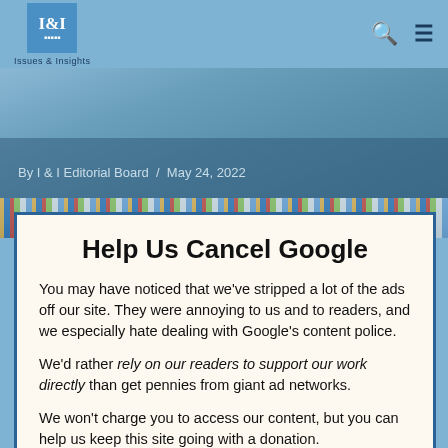I&I Issues & Insights
[Figure (photo): Hero image strip with blue-tinted photo overlay showing feet/ground, with byline text 'By I & I Editorial Board  May 24, 2022']
[Figure (photo): Second strip showing colorful magazine or newspaper rack image]
Help Us Cancel Google
You may have noticed that we've stripped a lot of the ads off our site. They were annoying to us and to readers, and we especially hate dealing with Google's content police.
We'd rather rely on our readers to support our work directly than get pennies from giant ad networks.
We won't charge you to access our content, but you can help us keep this site going with a donation.